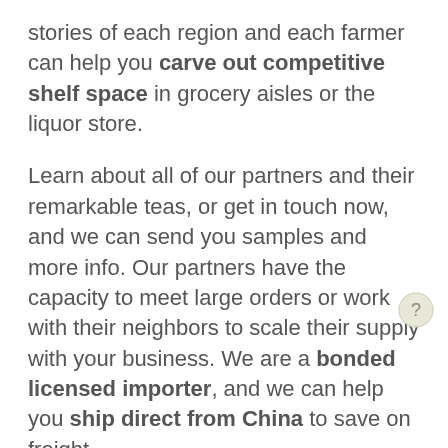stories of each region and each farmer can help you carve out competitive shelf space in grocery aisles or the liquor store.
Learn about all of our partners and their remarkable teas, or get in touch now, and we can send you samples and more info. Our partners have the capacity to meet large orders or work with their neighbors to scale their supply with your business. We are a bonded licensed importer, and we can help you ship direct from China to save on freight.
To be able to offer effective pricing and